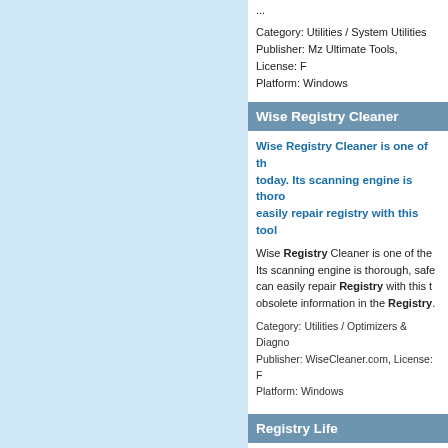...
Category: Utilities / System Utilities
Publisher: Mz Ultimate Tools, License: F
Platform: Windows
Wise Registry Cleaner
Wise Registry Cleaner is one of the today. Its scanning engine is thoro easily repair registry with this tool
Wise Registry Cleaner is one of the Its scanning engine is thorough, safe can easily repair Registry with this t obsolete information in the Registry.
Category: Utilities / Optimizers & Diagno
Publisher: WiseCleaner.com, License: F
Platform: Windows
Registry Life
Registry Life is a utility designed t defragmenting, and compressing t offers registry cleanup and optimi
Registry Life is a utility designed to i and compressing the Registry. Ulik cleanup and optimization in a single wide variety of problems and fixes th